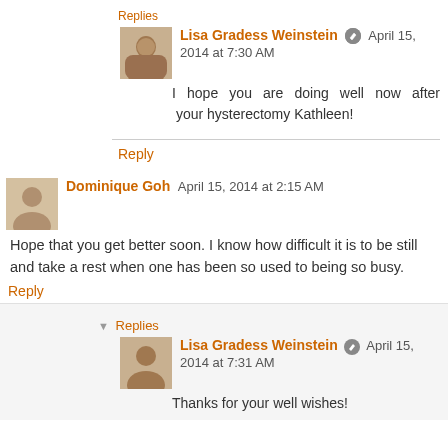Replies
Lisa Gradess Weinstein  April 15, 2014 at 7:30 AM
I hope you are doing well now after your hysterectomy Kathleen!
Reply
Dominique Goh  April 15, 2014 at 2:15 AM
Hope that you get better soon. I know how difficult it is to be still and take a rest when one has been so used to being so busy.
Reply
Replies
Lisa Gradess Weinstein  April 15, 2014 at 7:31 AM
Thanks for your well wishes!